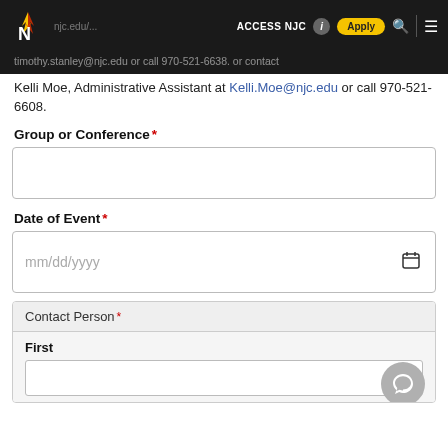ACCESS NJC | Apply | NJC navigation bar
timothy.stanley@njc.edu or call 970-521-6638. or contact Kelli Moe, Administrative Assistant at Kelli.Moe@njc.edu or call 970-521-6608.
Group or Conference*
[text input field for Group or Conference]
Date of Event*
[date input field mm/dd/yyyy]
Contact Person*
First [text input field]